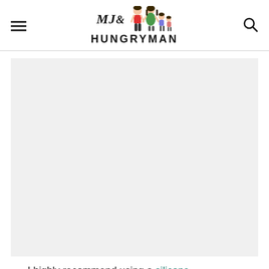MJ& HUNGRYMAN (logo with cartoon figures)
[Figure (photo): Large light gray placeholder image area (content image not loaded)]
I highly recommend using a silicone